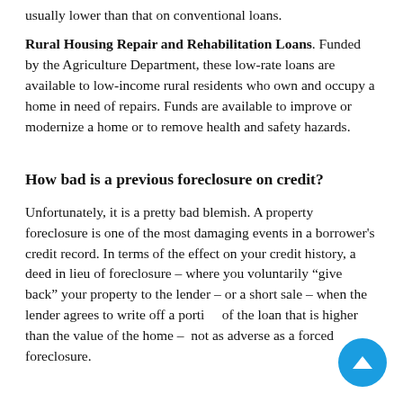usually lower than that on conventional loans.
Rural Housing Repair and Rehabilitation Loans. Funded by the Agriculture Department, these low-rate loans are available to low-income rural residents who own and occupy a home in need of repairs. Funds are available to improve or modernize a home or to remove health and safety hazards.
How bad is a previous foreclosure on credit?
Unfortunately, it is a pretty bad blemish. A property foreclosure is one of the most damaging events in a borrower's credit record. In terms of the effect on your credit history, a deed in lieu of foreclosure – where you voluntarily “give back” your property to the lender – or a short sale – when the lender agrees to write off a portion of the loan that is higher than the value of the home – is not as adverse as a forced foreclosure.